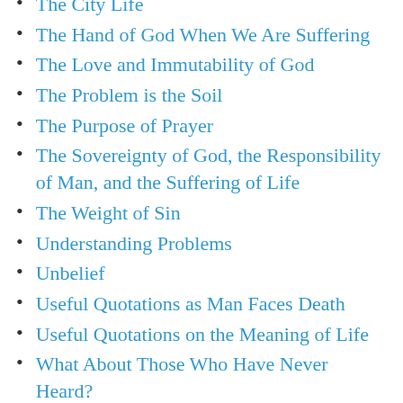The City Life
The Hand of God When We Are Suffering
The Love and Immutability of God
The Problem is the Soil
The Purpose of Prayer
The Sovereignty of God, the Responsibility of Man, and the Suffering of Life
The Weight of Sin
Understanding Problems
Unbelief
Useful Quotations as Man Faces Death
Useful Quotations on the Meaning of Life
What About Those Who Have Never Heard?
When Crisis Comes
When God Arises